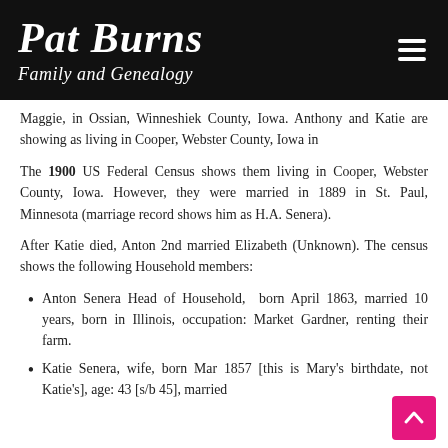Pat Burns Family and Genealogy
Maggie, in Ossian, Winneshiek County, Iowa. Anthony and Katie are showing as living in Cooper, Webster County, Iowa in
The 1900 US Federal Census shows them living in Cooper, Webster County, Iowa. However, they were married in 1889 in St. Paul, Minnesota (marriage record shows him as H.A. Senera).
After Katie died, Anton 2nd married Elizabeth (Unknown). The census shows the following Household members:
Anton Senera Head of Household,  born April 1863, married 10 years, born in Illinois, occupation: Market Gardner, renting their farm.
Katie Senera, wife, born Mar 1857 [this is Mary's birthdate, not Katie's], age: 43 [s/b 45], married